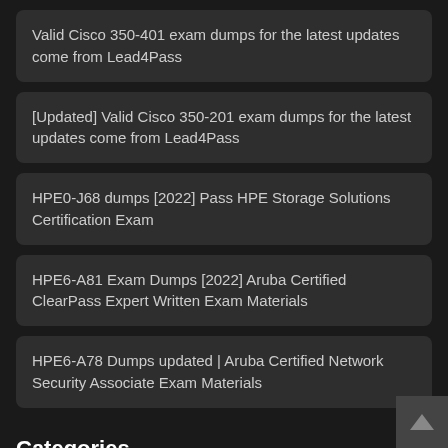Valid Cisco 350-401 exam dumps for the latest updates come from Lead4Pass
[Updated] Valid Cisco 350-201 exam dumps for the latest updates come from Lead4Pass
HPE0-J68 dumps [2022] Pass HPE Storage Solutions Certification Exam
HPE6-A81 Exam Dumps [2022] Aruba Certified ClearPass Expert Written Exam Materials
HPE6-A78 Dumps updated | Aruba Certified Network Security Associate Exam Materials
Categories
Select Category